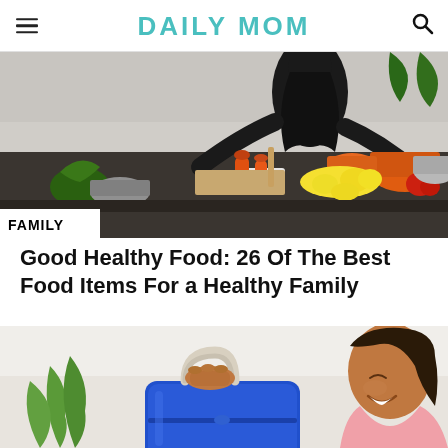DAILY MOM
[Figure (photo): Woman in black top cooking in a modern kitchen, with orange pots, pepper grinders, lemons, and green vegetables on a dark countertop. Label 'FAMILY' in bottom left corner.]
Good Healthy Food: 26 Of The Best Food Items For a Healthy Family
[Figure (photo): Young smiling girl holding a blue lunch bag/cooler with strap handles, with a green plant visible in the background.]